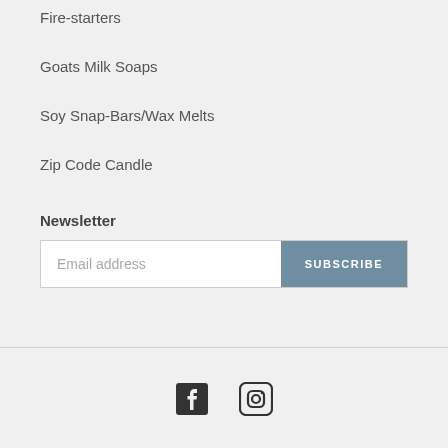Fire-starters
Goats Milk Soaps
Soy Snap-Bars/Wax Melts
Zip Code Candle
Newsletter
Email address
SUBSCRIBE
[Figure (other): Facebook and Instagram social media icons at the bottom of the page]